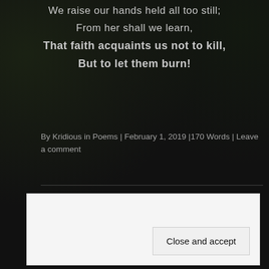We raise our hands held all too still;
From her shall we learn,
That faith acquaints us not to kill,
But to let them burn!
By Kridious in Poems | February 1, 2019 | 170 Words | Leave a comment
Tears of Eternity
Privacy & Cookies: This site uses cookies. By continuing to use this website, you agree to their use.
To find out more, including how to control cookies, see here: Cookie Policy
Close and accept